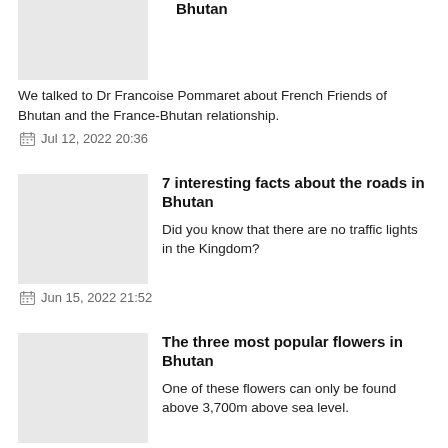Bhutan
We talked to Dr Francoise Pommaret about French Friends of Bhutan and the France-Bhutan relationship.
Jul 12, 2022 20:36
7 interesting facts about the roads in Bhutan
Did you know that there are no traffic lights in the Kingdom?
Jun 15, 2022 21:52
The three most popular flowers in Bhutan
One of these flowers can only be found above 3,700m above sea level.
May 29, 2022 22:23